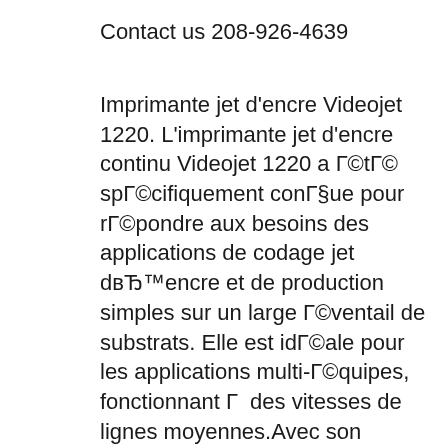Contact us 208-926-4639
Imprimante jet d'encre Videojet 1220. L'imprimante jet d'encre continu Videojet 1220 a Г©tГ© spГ©cifiquement conГ§ue pour rГ©pondre aux besoins des applications de codage jet dвЂ™encre et de production simples sur un large Г©ventail de substrats. Elle est idГ©ale pour les applications multi-Г©quipes, fonctionnant Г  des vitesses de lignes moyennes.Avec son excellente qualitГ© dвЂ™impression, l The VideoJet X40 network video server complies with the requirements of EU Directives 89/ 336 (Electromagnetic Compatibility) and 73/23, amended by 93/68 (Low Voltage